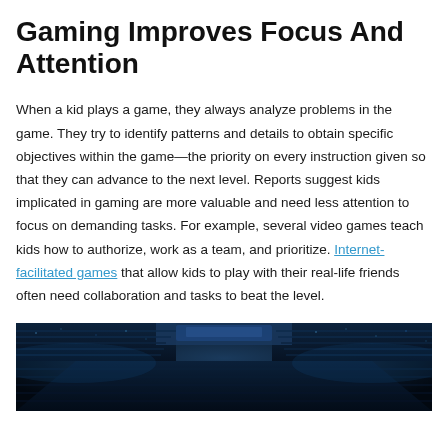Gaming Improves Focus And Attention
When a kid plays a game, they always analyze problems in the game. They try to identify patterns and details to obtain specific objectives within the game—the priority on every instruction given so that they can advance to the next level. Reports suggest kids implicated in gaming are more valuable and need less attention to focus on demanding tasks. For example, several video games teach kids how to authorize, work as a team, and prioritize. Internet-facilitated games that allow kids to play with their real-life friends often need collaboration and tasks to beat the level.
[Figure (photo): Dark photo of a large gaming arena/stadium filled with spectators, with blue lighting, viewed from a wide angle showing rows of seats and screens.]